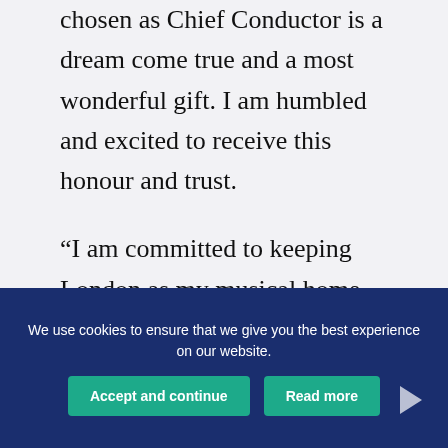chosen as Chief Conductor is a dream come true and a most wonderful gift. I am humbled and excited to receive this honour and trust.
“I am committed to keeping London as my musical home and look forward to this most important journey that awaits me, full not only of discovery but also of
We use cookies to ensure that we give you the best experience on our website.